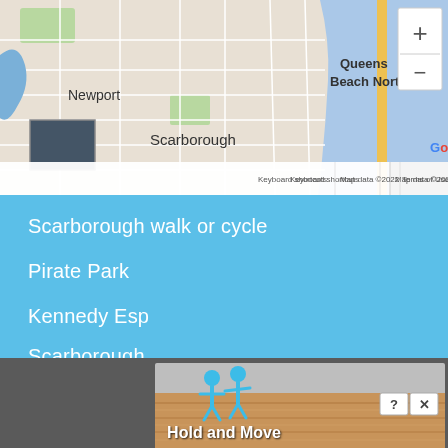[Figure (map): Google Maps screenshot showing Newport, Scarborough, and Queens Beach North area in Australia. Shows street grid, coastline, a yellow highlighted road, marker pin for Queens Beach North, Google logo, zoom controls (+/-), satellite thumbnail, road label 27, and map attribution: Keyboard shortcuts | Map data ©2022 | Terms of Use]
Scarborough walk or cycle
Pirate Park
Kennedy Esp
Scarborough
[Figure (screenshot): Street view panel at the bottom showing a gray panel, a wood-textured surface, two blue stick figure icons, help (?) and close (X) buttons, and the text 'Hold and Move']